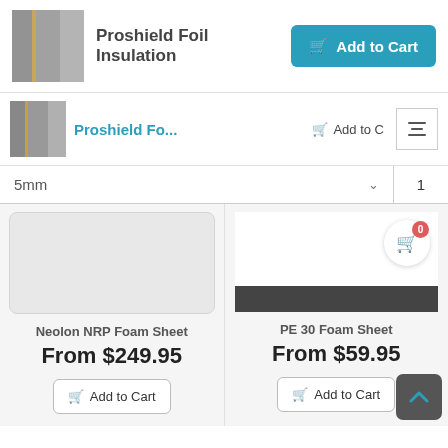[Figure (screenshot): Product listing page screenshot showing Proshield Foil Insulation with Add to Cart button, a sticky nav bar, a size/quantity selector, and two product cards: Neolon NRP Foam Sheet from $249.95 and PE 30 Foam Sheet from $59.95.]
Proshield Foil Insulation
Add to Cart
Proshield Fo...
Add to C
5mm
1
Neolon NRP Foam Sheet
From $249.95
Add to Cart
PE 30 Foam Sheet
From $59.95
Add to Cart